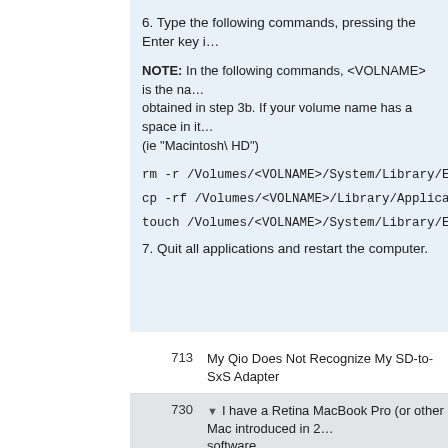6. Type the following commands, pressing the Enter key i…
NOTE: In the following commands, <VOLNAME> is the na… obtained in step 3b. If your volume name has a space in it… (ie "Macintosh\ HD")
rm -r /Volumes/<VOLNAME>/System/Library/Extensions/S…
cp -rf /Volumes/<VOLNAME>/Library/Application\ Support…
touch /Volumes/<VOLNAME>/System/Library/Extensions…
7. Quit all applications and restart the computer.
713   My Qio Does Not Recognize My SD-to-SxS Adapter
730   I have a Retina MacBook Pro (or other Mac introduced in 2… software.
Boot in safe mode. In Terminal, type: sudo nvram boot-arg… boot-args .